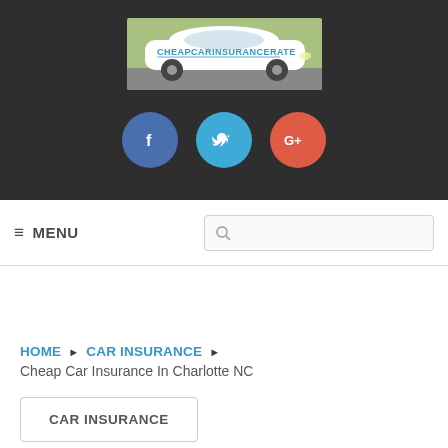[Figure (logo): CHEAPCARINSURANCERATE website logo with a white car on a light background]
[Figure (infographic): Social media icons row: Facebook (blue circle with f), Twitter (light blue circle with bird), Google Plus (red-orange circle with G+)]
≡ MENU  [search box]
HOME ▶ CAR INSURANCE ▶
Cheap Car Insurance In Charlotte NC
CAR INSURANCE